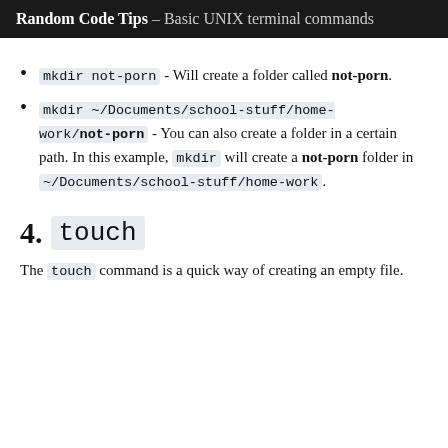Random Code Tips – Basic UNIX terminal commands
mkdir not-porn - Will create a folder called not-porn.
mkdir ~/Documents/school-stuff/home-work/not-porn - You can also create a folder in a certain path. In this example, mkdir will create a not-porn folder in ~/Documents/school-stuff/home-work.
4. touch
The touch command is a quick way of creating an empty file.